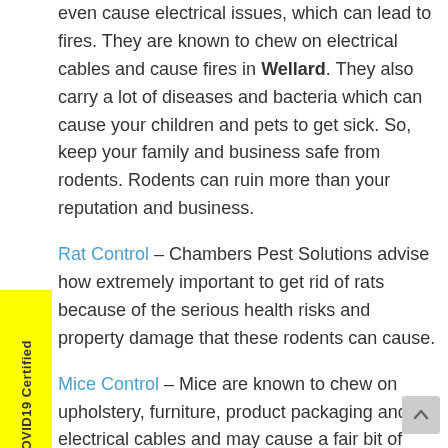even cause electrical issues, which can lead to fires. They are known to chew on electrical cables and cause fires in Wellard. They also carry a lot of diseases and bacteria which can cause your children and pets to get sick. So, keep your family and business safe from rodents. Rodents can ruin more than your reputation and business.
Rat Control – Chambers Pest Solutions advise how extremely important to get rid of rats because of the serious health risks and property damage that these rodents can cause.
Mice Control – Mice are known to chew on upholstery, furniture, product packaging and electrical cables and may cause a fair bit of